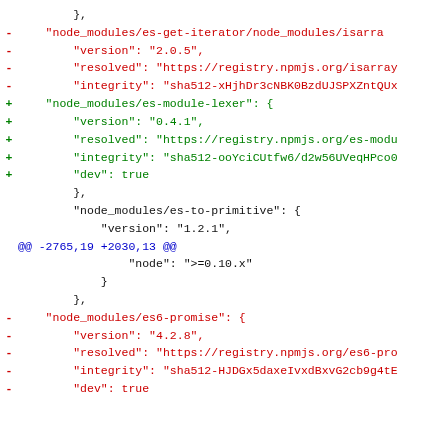Code diff showing npm lock file changes including node_modules/es-get-iterator, node_modules/es-module-lexer, node_modules/es-to-primitive, and node_modules/es6-promise entries with additions and removals.